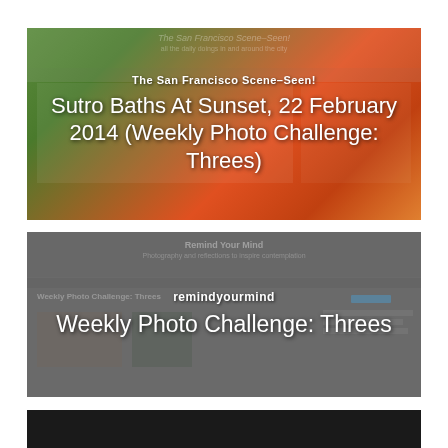[Figure (screenshot): Screenshot of 'The San Francisco Scene-Seen!' blog showing a post titled 'Sutro Baths At Sunset, 22 February 2014 (Weekly Photo Challenge: Threes)' overlaid on a colorful floral background image]
[Figure (screenshot): Screenshot of 'remindyourmind' blog showing a post titled 'Weekly Photo Challenge: Threes' with gray background, navigation elements, and thumbnail images]
[Figure (screenshot): Partial screenshot of a third website with dark/black background, partially visible at bottom of page]